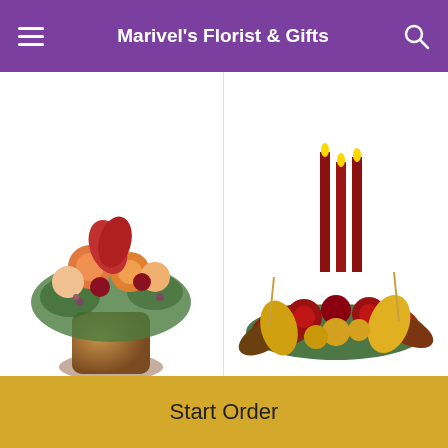Marivel's Florist & Gifts
[Figure (photo): Autumn flower bouquet with orange roses, red lilies, and fall foliage in a copper/bronze cylindrical vase]
Teleflora's Amazing Autumn
From $86.95
[Figure (photo): Graceful Glow Centerpiece: low autumn floral arrangement with red roses, yellow lilies, burgundy blooms and fall leaves with tall red candles]
Graceful Glow Centerpiece
From $69.95
POWERED BY
[Figure (logo): Lovingly logo: pink/red envelope icon with 'lovingly' text in dark navy blue]
Start Order